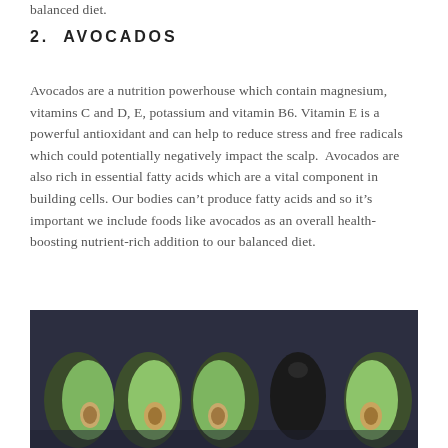balanced diet.
2.  AVOCADOS
Avocados are a nutrition powerhouse which contain magnesium, vitamins C and D, E, potassium and vitamin B6. Vitamin E is a powerful antioxidant and can help to reduce stress and free radicals which could potentially negatively impact the scalp.  Avocados are also rich in essential fatty acids which are a vital component in building cells. Our bodies can’t produce fatty acids and so it’s important we include foods like avocados as an overall health-boosting nutrient-rich addition to our balanced diet.
[Figure (photo): Photograph of multiple avocados on a dark background — halved avocados showing green flesh and pits, and one whole dark avocado, arranged in a row]